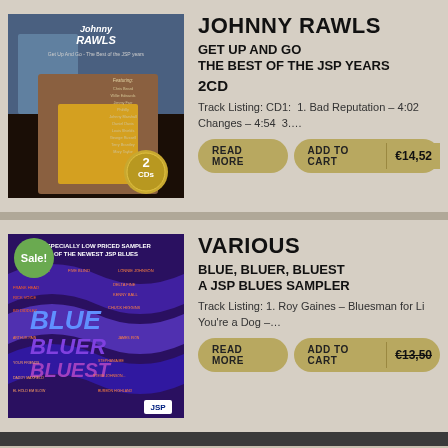[Figure (photo): Johnny Rawls album cover - Get Up And Go: The Best of the JSP Years, 2CDs]
JOHNNY RAWLS
GET UP AND GO
THE BEST OF THE JSP YEARS
2CD
Track Listing: CD1: 1. Bad Reputation – 4:02  Changes – 4:54  3....
[Figure (photo): Various - Blue, Bluer, Bluest: A JSP Blues Sampler album cover with Sale badge]
VARIOUS
BLUE, BLUER, BLUEST
A JSP BLUES SAMPLER
Track Listing: 1. Roy Gaines – Bluesman for Li  You're a Dog –...